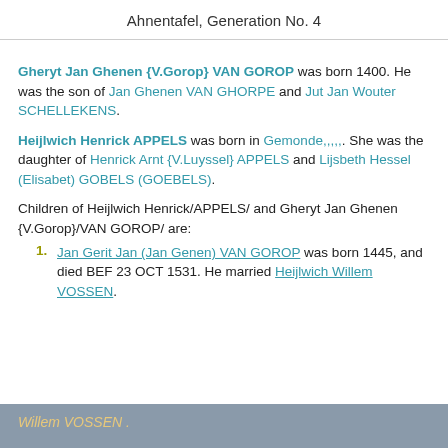Ahnentafel, Generation No. 4
Gheryt Jan Ghenen {V.Gorop} VAN GOROP was born 1400. He was the son of Jan Ghenen VAN GHORPE and Jut Jan Wouter SCHELLEKENS.
Heijlwich Henrick APPELS was born in Gemonde,,,,,. She was the daughter of Henrick Arnt {V.Luyssel} APPELS and Lijsbeth Hessel (Elisabet) GOBELS (GOEBELS).
Children of Heijlwich Henrick/APPELS/ and Gheryt Jan Ghenen {V.Gorop}/VAN GOROP/ are:
Jan Gerit Jan (Jan Genen) VAN GOROP was born 1445, and died BEF 23 OCT 1531. He married Heijlwich Willem VOSSEN.
Willem VOSSEN .